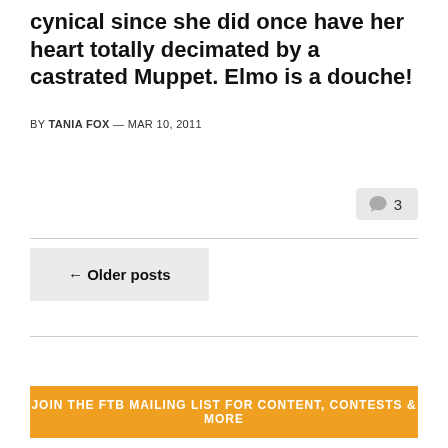cynical since she did once have her heart totally decimated by a castrated Muppet. Elmo is a douche!
BY TANIA FOX — MAR 10, 2011
💬 3
← Older posts
JOIN THE FTB MAILING LIST FOR CONTENT, CONTESTS & MORE